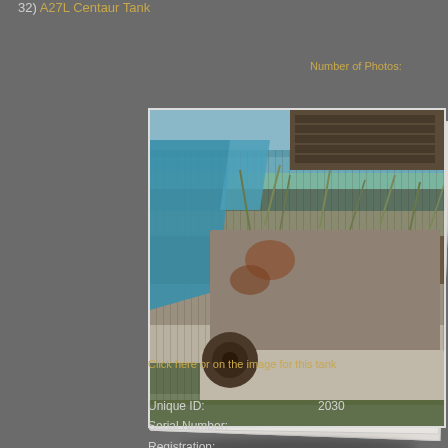32) A27L Centaur Tank
Number of Photos:
[Figure (photo): Photograph of a derelict A27L Centaur tank, heavily rusted and overgrown with weeds and grass, with a blue tarpaulin visible on the left side. The tank is missing its turret and appears to be in a scrapyard or storage area.]
Click here or on the image for this tank
Unique ID:    2030
Serial Number:
Registration: